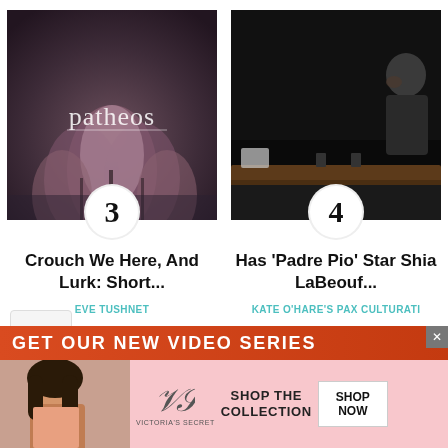[Figure (photo): Patheos logo over lotus flowers image, numbered badge '3']
[Figure (photo): Dark interview/talk show set scene with person, numbered badge '4']
Crouch We Here, And Lurk: Short...
Has 'Padre Pio' Star Shia LaBeouf...
EVE TUSHNET
KATE O'HARE'S PAX CULTURATI
ADVERTISEMENT – feature continues below
[Figure (screenshot): GET OUR NEW VIDEO SERIES promotional banner strip in orange/red]
[Figure (photo): Victoria's Secret advertisement banner with woman model, VS logo, SHOP THE COLLECTION, SHOP NOW button]